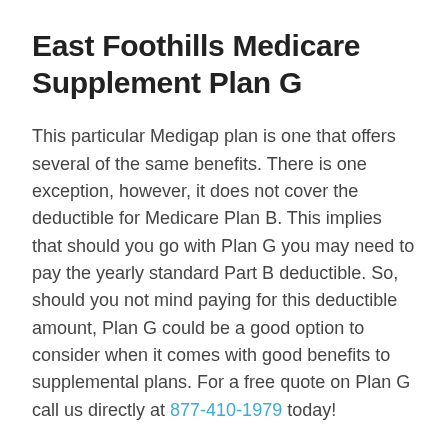East Foothills Medicare Supplement Plan G
This particular Medigap plan is one that offers several of the same benefits. There is one exception, however, it does not cover the deductible for Medicare Plan B. This implies that should you go with Plan G you may need to pay the yearly standard Part B deductible. So, should you not mind paying for this deductible amount, Plan G could be a good option to consider when it comes with good benefits to supplemental plans. For a free quote on Plan G call us directly at 877-410-1979 today!
You need to know that all excess charges that can accrue with Part B Medicare are covered by both of these plans and they're the only two Medigap plans